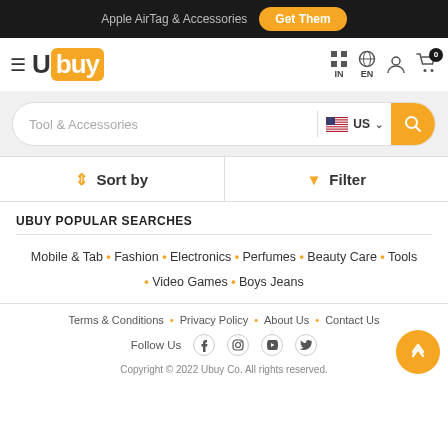Apple AirTag & Accessories  Get Them
[Figure (logo): Ubuy logo with orange box]
Tool & Accessories  US
Sort by  Filter
UBUY POPULAR SEARCHES
Mobile & Tab • Fashion • Electronics • Perfumes • Beauty Care • Tools • Video Games • Boys Jeans
Terms & Conditions • Privacy Policy • About Us • Contact Us  Follow Us  Copyright © 2022 Ubuy Co. All rights reserved.